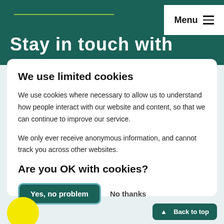Menu
Stay in touch with
We use limited cookies
We use cookies where necessary to allow us to understand how people interact with our website and content, so that we can continue to improve our service.
We only ever receive anonymous information, and cannot track you across other websites.
[Figure (logo): Get Yourself Active yellow circle logo]
Are you OK with cookies?
Yes, no problem
No thanks
Back to top